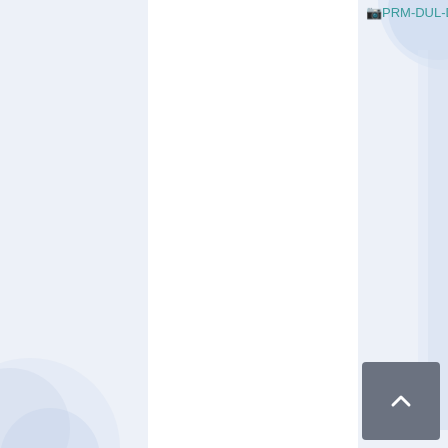[Figure (screenshot): A webpage screenshot showing a broken image placeholder with alt text 'PRM-DUL-DUL46' in teal/green color, on a white content area with light blue-grey sidebars and decorative elements. A dark grey scroll-to-top button with an upward chevron arrow is visible in the bottom-right corner.]